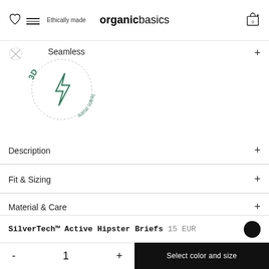Ethically made | organicbasics
Seamless
[Figure (illustration): Circular badge with icons and text reading '3D', 'learn more', and a lightning bolt icon in teal/green color]
Description
Fit & Sizing
Material & Care
Free CO2 neutral worldwide shipping available.
Size Guides
Save with packs
SilverTech™ Active Hipster Briefs  15 EUR
- 1 +  Select color and size